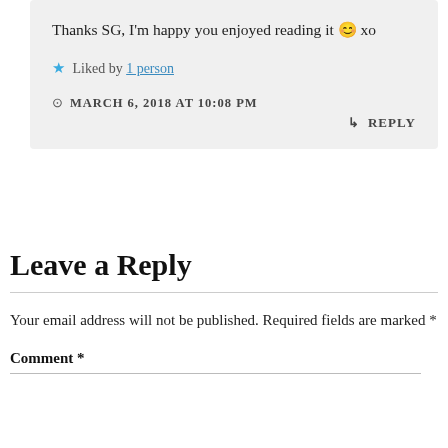Thanks SG, I'm happy you enjoyed reading it 😊 xo
★ Liked by 1 person
MARCH 6, 2018 AT 10:08 PM
↳ REPLY
Leave a Reply
Your email address will not be published. Required fields are marked *
Comment *